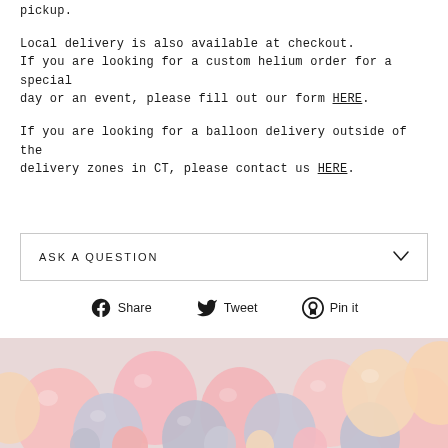pickup.
Local delivery is also available at checkout.
If you are looking for a custom helium order for a special day or an event, please fill out our form HERE.
If you are looking for a balloon delivery outside of the delivery zones in CT, please contact us HERE.
ASK A QUESTION
Share   Tweet   Pin it
[Figure (photo): Close-up photo of pastel pink, silver/grey, and peach balloons arranged together]